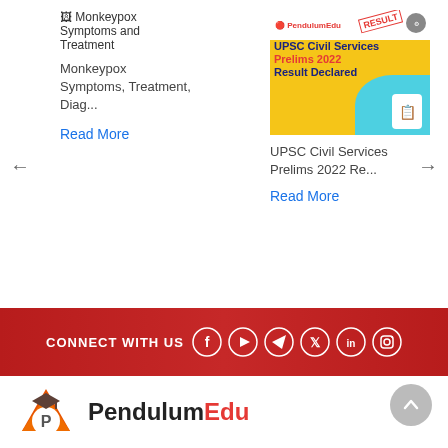[Figure (other): Broken image placeholder for Monkeypox Symptoms and Treatment article thumbnail]
Monkeypox Symptoms, Treatment, Diag...
Read More
[Figure (other): UPSC Civil Services Prelims 2022 Result Declared banner image with PendulumEdu logo]
UPSC Civil Services Prelims 2022 Re...
Read More
[Figure (other): Red banner with CONNECT WITH US text and social media icons: Facebook, YouTube, Telegram, Twitter, LinkedIn, Instagram]
[Figure (logo): PendulumEdu logo with orange book icon and PendulumEdu text]